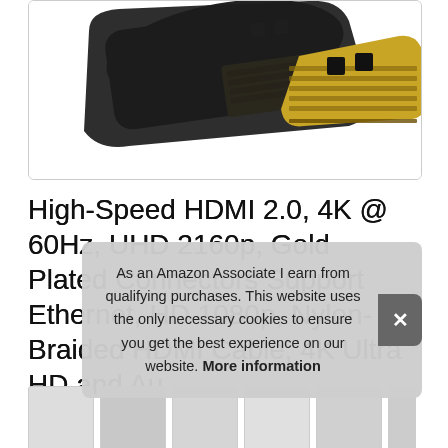[Figure (photo): Close-up photo of a gold-plated HDMI connector tip (male plug) against a white background, showing gold pins and black housing.]
High-Speed HDMI 2.0, 4K @ 60Hz, UHD 2160p, Gold Plated Connectors Support Ethernet, HD 1080p, Nylon-Braided HDMI Cable, 4K Ultra HD and Audio Return Channel Black Soni... HD...
As an Amazon Associate I earn from qualifying purchases. This website uses the only necessary cookies to ensure you get the best experience on our website. More information
[Figure (photo): Row of product thumbnail images at the bottom of the page showing various views of HDMI cables and related products.]